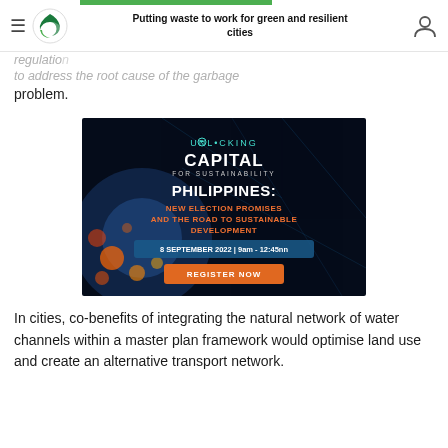Putting waste to work for green and resilient cities
regulatio … to address the root cause of the garbage problem.
[Figure (illustration): Advertisement banner: Unlocking Capital for Sustainability – Philippines: New Election Promises and the Road to Sustainable Development. 8 September 2022 | 9am - 12:45nn. Register Now button.]
In cities, co-benefits of integrating the natural network of water channels within a master plan framework would optimise land use and create an alternative transport network.